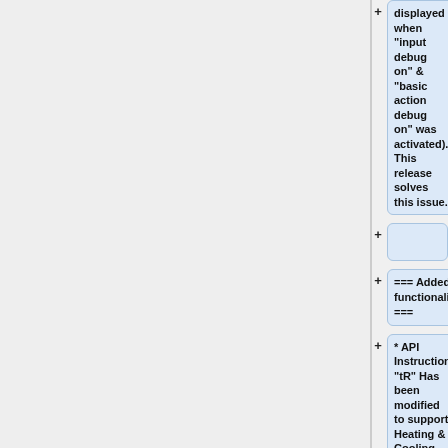displayed when "input debug on" & "basic action debug on" was activated). This release solves this issue.
=== Added functionality ===
* API Instruction "tR" Has been modified to support Heating & Cooling
* API Instruction "tW" Has been modified to